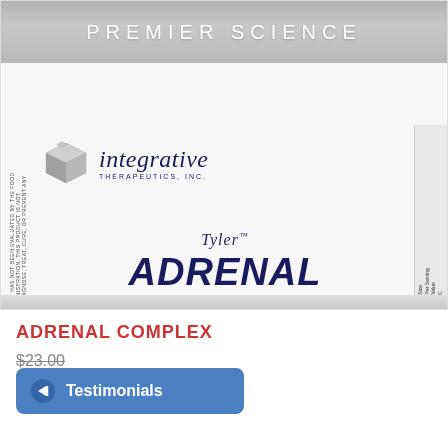[Figure (photo): Product photo of a white supplement bottle labeled 'Tyler Adrenal Complex' by Integrative Therapeutics, Inc. under PREMIER SCIENCE banner]
ADRENAL COMPLEX
$23.00
Testimonials